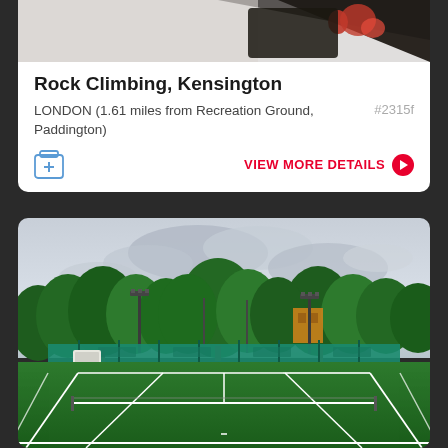[Figure (photo): Partial view of a rock climbing venue image at top of card, dark background with some colorful elements visible]
Rock Climbing, Kensington
LONDON (1.61 miles from Recreation Ground, Paddington)   #2315f
[Figure (photo): Outdoor grass tennis courts viewed from court level, green astroturf surface with white lines, teal windbreak barriers along the back fence, tall floodlight poles, large trees in background, overcast sky, orange/yellow building visible through trees]